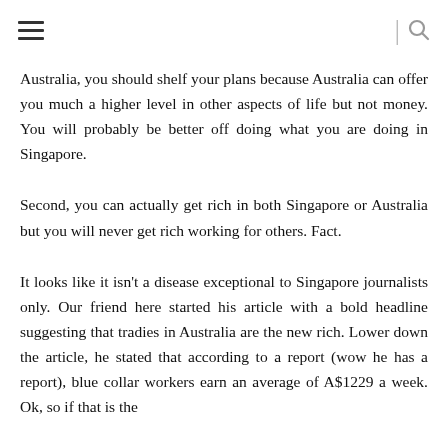≡  |  🔍
Australia, you should shelf your plans because Australia can offer you much a higher level in other aspects of life but not money. You will probably be better off doing what you are doing in Singapore.
Second, you can actually get rich in both Singapore or Australia but you will never get rich working for others. Fact.
It looks like it isn't a disease exceptional to Singapore journalists only. Our friend here started his article with a bold headline suggesting that tradies in Australia are the new rich. Lower down the article, he stated that according to a report (wow he has a report), blue collar workers earn an average of A$1229 a week. Ok, so if that is the